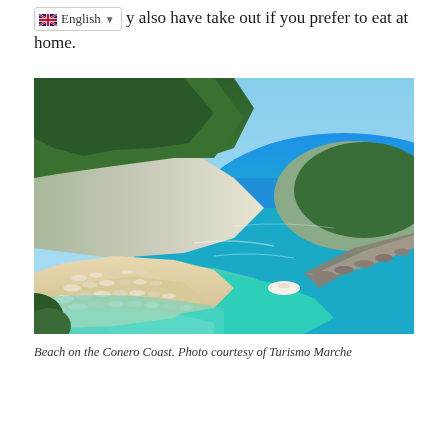y also have take out if you prefer to eat at home.
[Figure (photo): Aerial view of a beach on the Conero Coast, Italy. A sandy beach lined with umbrellas and sunbeds curves along turquoise-green water. Large white limestone cliffs covered with green forest rise on the left side. A rocky breakwater extends into the calm blue sea on the right.]
Beach on the Conero Coast. Photo courtesy of Turismo Marche